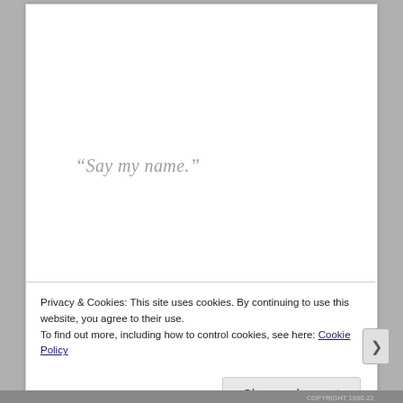“Say my name.”
“I love you NK”
Privacy & Cookies: This site uses cookies. By continuing to use this website, you agree to their use.
To find out more, including how to control cookies, see here: Cookie Policy
Close and accept